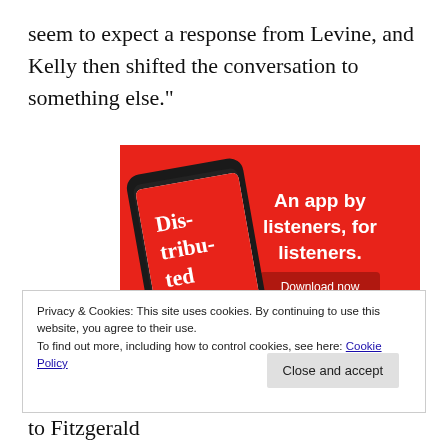seem to expect a response from Levine, and Kelly then shifted the conversation to something else."
[Figure (screenshot): Advertisement banner on red background showing a smartphone with 'Distributed' podcast app. Text reads 'An app by listeners, for listeners.' with a 'Download now' button.]
Privacy & Cookies: This site uses cookies. By continuing to use this website, you agree to their use.
To find out more, including how to control cookies, see here: Cookie Policy
(This is the subject of the Citizen Wells plea to Fitzgerald